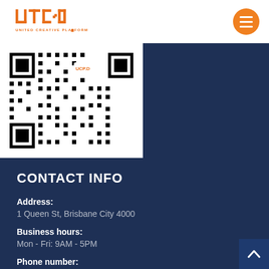[Figure (logo): UTC.D United Creative Platform logo in orange]
[Figure (other): QR code with UCP.D logo in center, black and white]
CONTACT INFO
Address:
1 Queen St, Brisbane City 4000
Business hours:
Mon - Fri: 9AM - 5PM
Phone number:
001-234-5678